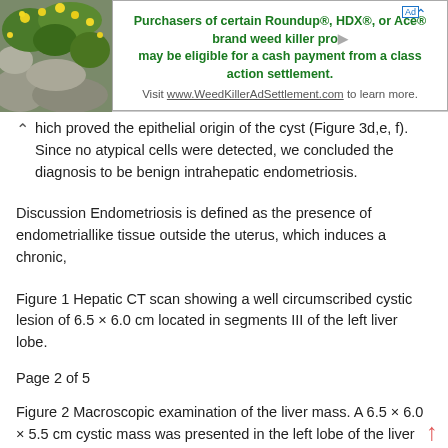[Figure (other): Advertisement banner: photo of yellow flowers on rocks on left; text ad for Roundup/HDX/Ace weed killer class action settlement on right, with close button and ad icon]
hich proved the epithelial origin of the cyst (Figure 3d,e, f). Since no atypical cells were detected, we concluded the diagnosis to be benign intrahepatic endometriosis.
Discussion Endometriosis is defined as the presence of endometriallike tissue outside the uterus, which induces a chronic,
Figure 1 Hepatic CT scan showing a well circumscribed cystic lesion of 6.5 × 6.0 cm located in segments III of the left liver lobe.
Page 2 of 5
Figure 2 Macroscopic examination of the liver mass. A 6.5 × 6.0 × 5.5 cm cystic mass was presented in the left lobe of the liver with thick fibrous capsule.